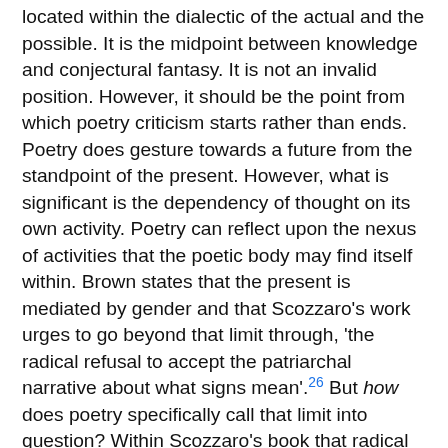located within the dialectic of the actual and the possible. It is the midpoint between knowledge and conjectural fantasy. It is not an invalid position. However, it should be the point from which poetry criticism starts rather than ends. Poetry does gesture towards a future from the standpoint of the present. However, what is significant is the dependency of thought on its own activity. Poetry can reflect upon the nexus of activities that the poetic body may find itself within. Brown states that the present is mediated by gender and that Scozzaro's work urges to go beyond that limit through, 'the radical refusal to accept the patriarchal narrative about what signs mean'.26 But how does poetry specifically call that limit into question? Within Scozzaro's book that radical refusal is not premised on a positive future -as the future is so often for Scozzaro a condition of fantasy under duress- but by the exaggeration of the lunacy of the present. That lunacy is drawn to the reader's attention by stressing how conditions of immiseration put strain upon fantasy, experienced through relations of gendered violence. In this poetry what signs mean is taken up within the use of tone, voice or irony. In the next section I will focus on how